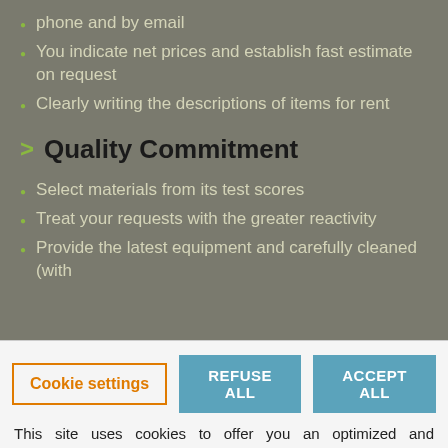phone and by email
You indicate net prices and establish fast estimate on request
Clearly writing the descriptions of items for rent
Quality Commitment
Select materials from its test scores
Treat your requests with the greater reactivity
Provide the latest equipment and carefully cleaned (with
Cookie settings
REFUSE ALL
ACCEPT ALL
This site uses cookies to offer you an optimized and personalized user experience, to make our audience statistics, or to offer you advertising and offers tailored to your desires and interests. You can, however, uncheck the cookies that you do not want us to use.